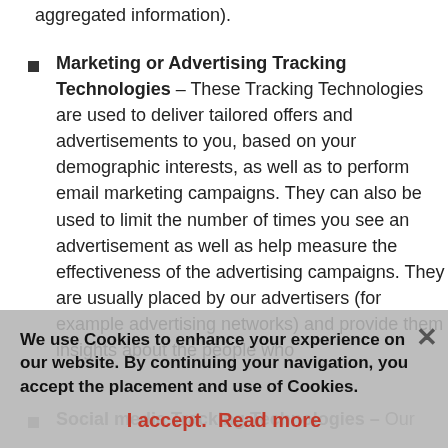aggregated information).
Marketing or Advertising Tracking Technologies – These Tracking Technologies are used to deliver tailored offers and advertisements to you, based on your demographic interests, as well as to perform email marketing campaigns. They can also be used to limit the number of times you see an advertisement as well as help measure the effectiveness of the advertising campaigns. They are usually placed by our advertisers (for example advertising networks) and provide them insights about the people who interact with their ads or their websites or use their app.
We use Cookies to enhance your experience on our website. By continuing your navigation, you accept the placement and use of Cookies.
I accept.  Read more
Social media Tracking Technologies – Our